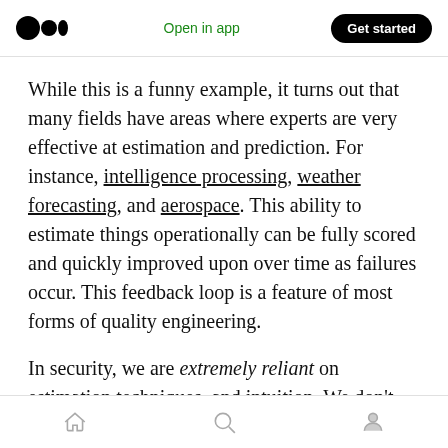Open in app | Get started
While this is a funny example, it turns out that many fields have areas where experts are very effective at estimation and prediction. For instance, intelligence processing, weather forecasting, and aerospace. This ability to estimate things operationally can be fully scored and quickly improved upon over time as failures occur. This feedback loop is a feature of most forms of quality engineering.
In security, we are extremely reliant on estimation techniques, and intuition. We don't have a
Home | Search | Profile